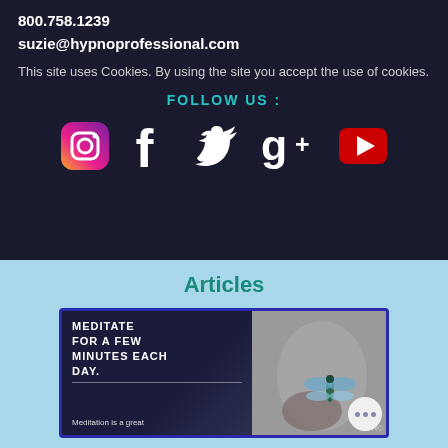800.758.1239
suzie@hypnoprofessional.com
This site uses Cookies. By using the site you accept the use of cookies.
FOLLOW US :
[Figure (illustration): Social media icons: Instagram, Facebook, Twitter, Google+, YouTube]
Articles
[Figure (photo): Article card with text MEDITATE FOR A FEW MINUTES EACH DAY. and image of hands with dragonfly. Caption reads: Meditation is a great]